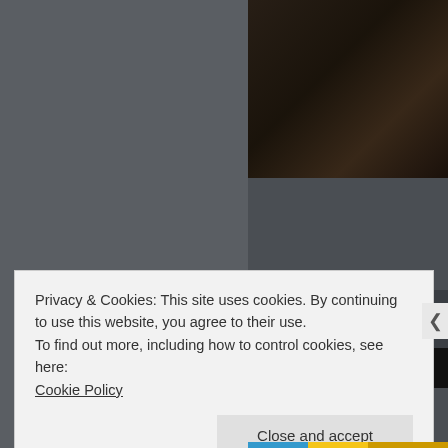[Figure (screenshot): Dark grey website background with right sidebar panel showing a dark photo area at top and article content below]
BEAUTIFUL WOMEN PLAYING T
04/13/2012    dirtybourbonriv
Tonight we play our 250th gig Colorado! The show will kick o And now without further ado, virtuoso, Meg from Durango,
Privacy & Cookies: This site uses cookies. By continuing to use this website, you agree to their use.
To find out more, including how to control cookies, see here:
Cookie Policy
Close and accept